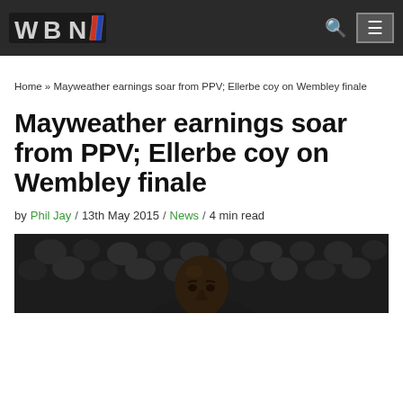WBN
Home » Mayweather earnings soar from PPV; Ellerbe coy on Wembley finale
Mayweather earnings soar from PPV; Ellerbe coy on Wembley finale
by Phil Jay / 13th May 2015 / News / 4 min read
[Figure (photo): Dark photo of a bald Black man (Floyd Mayweather) looking upward, with crowd in background]